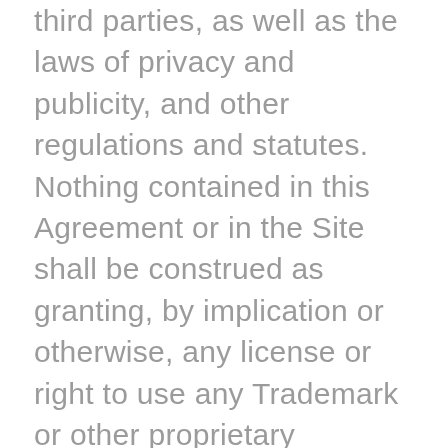third parties, as well as the laws of privacy and publicity, and other regulations and statutes. Nothing contained in this Agreement or in the Site shall be construed as granting, by implication or otherwise, any license or right to use any Trademark or other proprietary information without the express written consent of the Company or third party owner. The Company respects the copyright, trademark and all other intellectual property rights of others. The Company has the right, but has no obligation, to remove content and